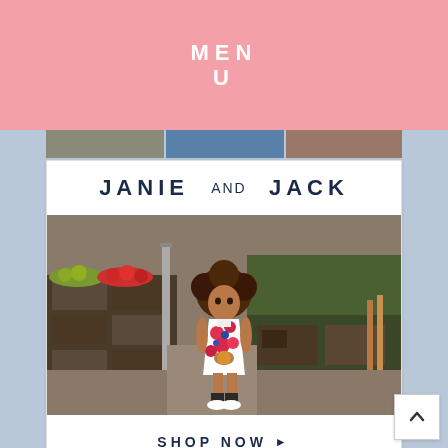MENU
[Figure (photo): Janie and Jack advertisement card showing a young curly-haired girl in a floral dress standing at an outdoor market with produce crates, with brand name 'JANIE AND JACK' above and 'SHOP NOW ▶' button below]
[Figure (photo): Partial bottom image showing outdoor scene with blurred golden-green tones]